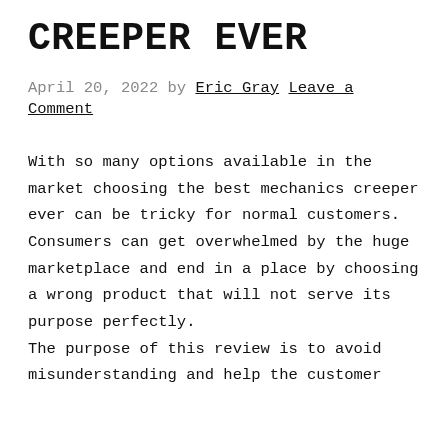CREEPER EVER
April 20, 2022 by Eric Gray Leave a Comment
With so many options available in the market choosing the best mechanics creeper ever can be tricky for normal customers. Consumers can get overwhelmed by the huge marketplace and end in a place by choosing a wrong product that will not serve its purpose perfectly. The purpose of this review is to avoid misunderstanding and help the customer